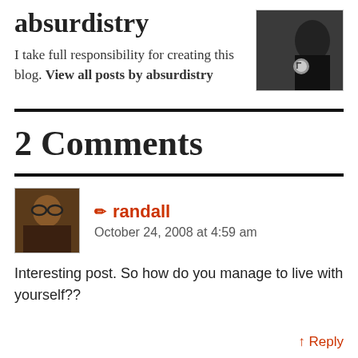absurdistry
[Figure (photo): Photo of person wearing a watch, dark background]
I take full responsibility for creating this blog. View all posts by absurdistry
2 Comments
✏ randall
October 24, 2008 at 4:59 am
[Figure (photo): Avatar photo of commenter randall]
Interesting post. So how do you manage to live with yourself??
↑ Reply